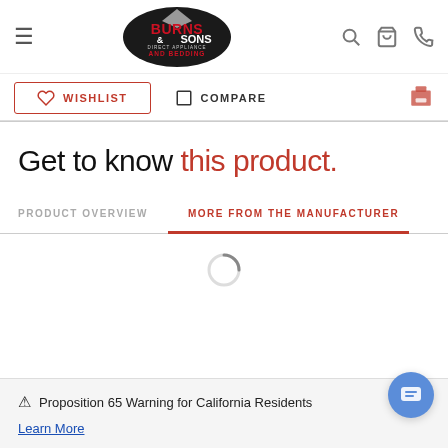Burns & Sons Direct Appliance and Bedding
[Figure (logo): Burns & Sons Direct Appliance and Bedding logo — black oval with red and white text]
WISHLIST   COMPARE
Get to know this product.
PRODUCT OVERVIEW   MORE FROM THE MANUFACTURER
[Figure (other): Loading spinner circle]
⚠ Proposition 65 Warning for California Residents
Learn More